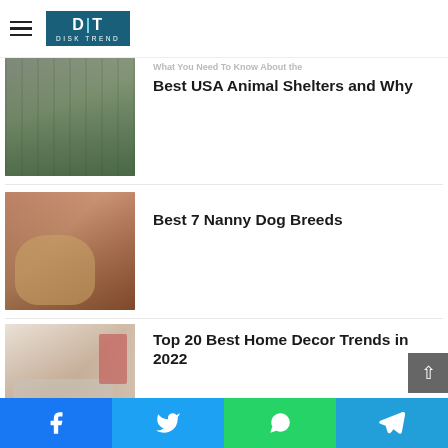Disk Trend
and How To Keep Your Horse Healthy
What You Need To Know About the Best USA Animal Shelters and Why
[Figure (photo): Animal shelter corridor with kennels]
Best 7 Nanny Dog Breeds
[Figure (photo): Child with golden retriever dog on bed]
Top 20 Best Home Decor Trends in 2022
[Figure (photo): Modern living room with sofa and red accents]
Top 10 Best Internet Security Trends in 2022